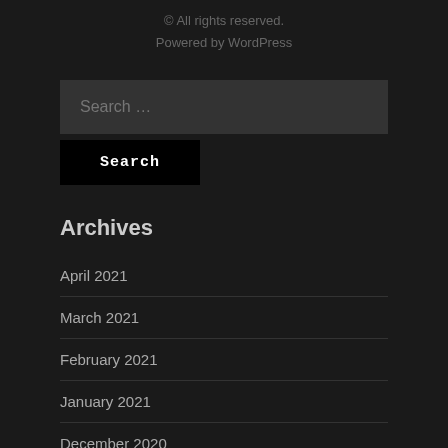© All rights reserved. Powered by WordPress
Search …
Search
Archives
April 2021
March 2021
February 2021
January 2021
December 2020
November 2020